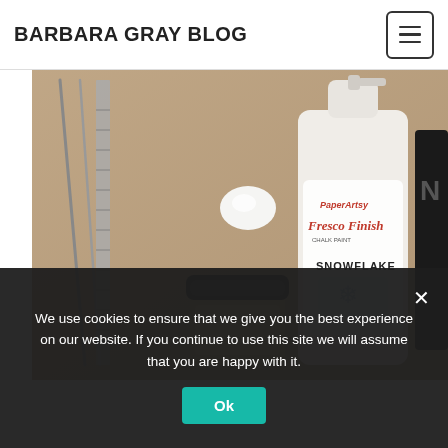BARBARA GRAY BLOG
[Figure (photo): Craft supplies on a brown cardboard surface: metal tweezers/tools on the left, a small round container with black lid in the center-bottom, a white blob of paint or medium in the upper center, and a white bottle of PaperArtsy Fresco Finish Chalk Paint in Snowflake color on the right.]
We use cookies to ensure that we give you the best experience on our website. If you continue to use this site we will assume that you are happy with it.